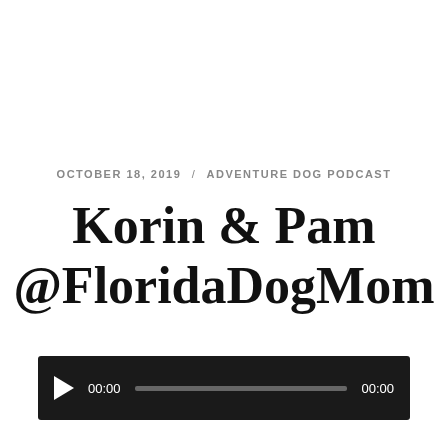OCTOBER 18, 2019 / ADVENTURE DOG PODCAST
Korin & Pam @FloridaDogMom
[Figure (other): Audio player bar with play button, time display 00:00, progress bar, and end time 00:00]